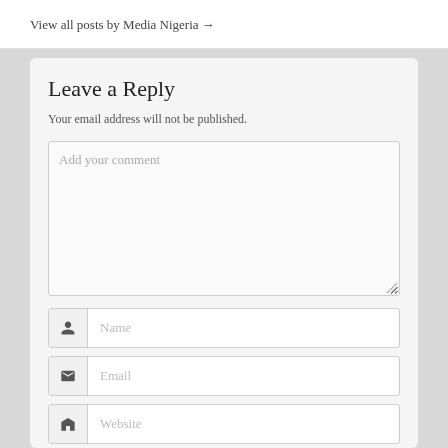View all posts by Media Nigeria →
Leave a Reply
Your email address will not be published.
Add your comment
Name
Email
Website